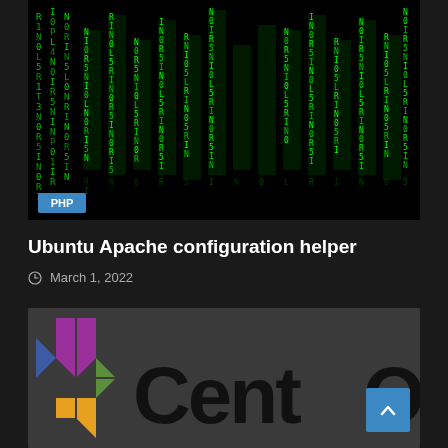[Figure (screenshot): Matrix-style green falling code on black background with a blue PHP badge in the lower left corner]
Ubuntu Apache configuration helper
March 1, 2022
[Figure (logo): CentOS logo — colorful arrow/diamond logo on left, partially visible 'CentOS' text in large black letters on dark grey background]